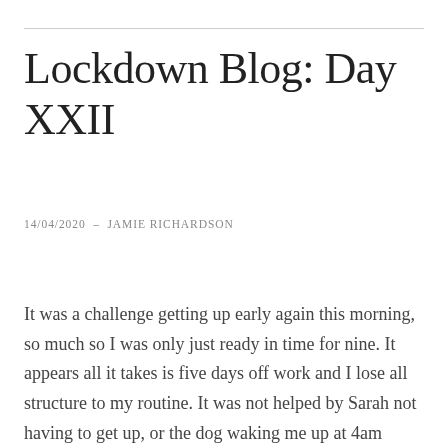Lockdown Blog: Day XXII
14/04/2020  –  JAMIE RICHARDSON
It was a challenge getting up early again this morning, so much so I was only just ready in time for nine. It appears all it takes is five days off work and I lose all structure to my routine. It was not helped by Sarah not having to get up, or the dog waking me up at 4am when he bathed into the room, but still I found it much harder to drag myself up today.